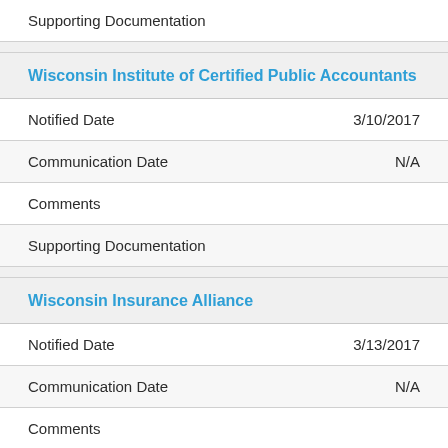Supporting Documentation
Wisconsin Institute of Certified Public Accountants
| Field | Value |
| --- | --- |
| Notified Date | 3/10/2017 |
| Communication Date | N/A |
| Comments |  |
| Supporting Documentation |  |
Wisconsin Insurance Alliance
| Field | Value |
| --- | --- |
| Notified Date | 3/13/2017 |
| Communication Date | N/A |
| Comments |  |